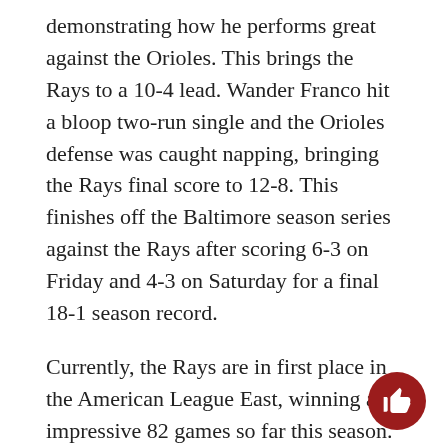demonstrating how he performs great against the Orioles. This brings the Rays to a 10-4 lead. Wander Franco hit a bloop two-run single and the Orioles defense was caught napping, bringing the Rays final score to 12-8. This finishes off the Baltimore season series against the Rays after scoring 6-3 on Friday and 4-3 on Saturday for a final 18-1 season record.
Currently, the Rays are in first place in the American League East, winning an impressive 82 games so far this season. If this pace continues, the Rays will break another franchise record. The most wins in a season so far in the Rays’ franchise history is 97 wins in 2008. They currently lead the league in bullpen wins. According to the Baseball-Reference website, play-off odds for the Tampa Bay Rays are now at 99.9% and at 18.4% for the Rays to win the World Series.
Several players stand-out at the moment. Since the acquisition of Nelson Cruz, Wander Franco has had an